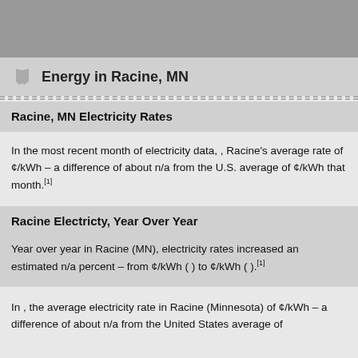Energy in Racine, MN
Racine, MN Electricity Rates
In the most recent month of electricity data, , Racine's average rate of ¢/kWh – a difference of about n/a from the U.S. average of ¢/kWh that month.[1]
Racine Electricty, Year Over Year
Year over year in Racine (MN), electricity rates increased an estimated n/a percent – from ¢/kWh ( ) to ¢/kWh ( ).[1]
In , the average electricity rate in Racine (Minnesota) of ¢/kWh – a difference of about n/a from the United States average of